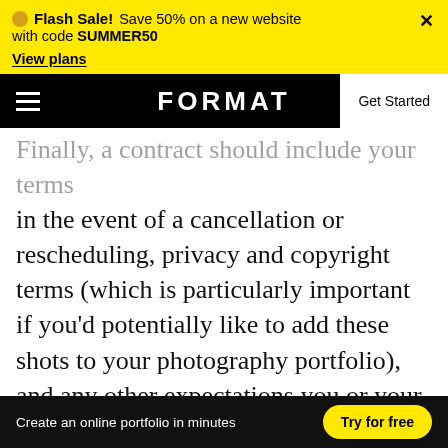Flash Sale! Save 50% on a new website with code SUMMER50. View plans.
FORMAT — Get Started
Finally, a contract should include your terms in the event of a cancellation or rescheduling, privacy and copyright terms (which is particularly important if you'd potentially like to add these shots to your photography portfolio), and any other expectations you or your client may want to set in stone prior to the wedding
Create an online portfolio in minutes — Try for free